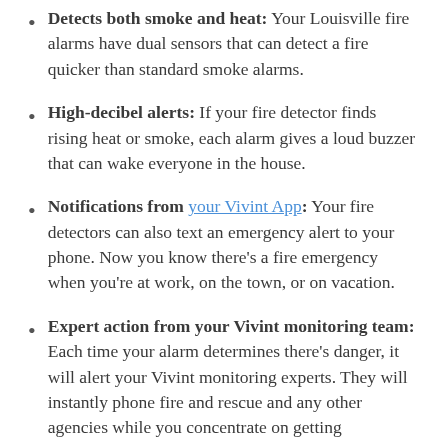Detects both smoke and heat: Your Louisville fire alarms have dual sensors that can detect a fire quicker than standard smoke alarms.
High-decibel alerts: If your fire detector finds rising heat or smoke, each alarm gives a loud buzzer that can wake everyone in the house.
Notifications from your Vivint App: Your fire detectors can also text an emergency alert to your phone. Now you know there's a fire emergency when you're at work, on the town, or on vacation.
Expert action from your Vivint monitoring team: Each time your alarm determines there's danger, it will alert your Vivint monitoring experts. They will instantly phone fire and rescue and any other agencies while you concentrate on getting